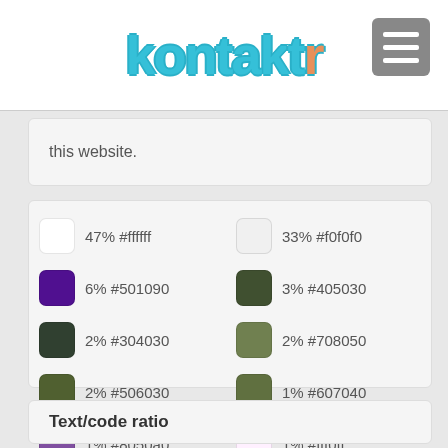kontactr
this website.
[Figure (infographic): Color palette grid showing 12 colors with hex codes and percentages: 47% #ffffff, 33% #f0f0f0, 6% #501090, 3% #405030, 2% #304030, 2% #708050, 2% #506030, 1% #607040, 1% #8050a0, 1% #fff0ff, 0% #fffff0, 0% #d0e0d0]
Text/code ratio